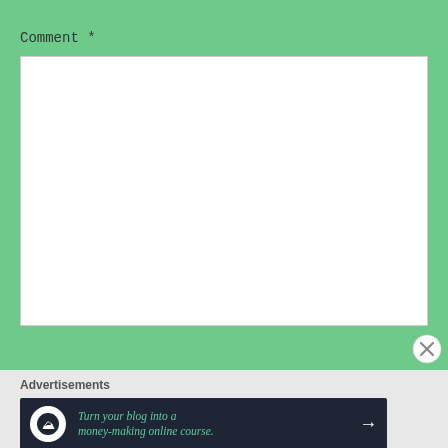Comment *
[Figure (screenshot): Empty white comment text area input box]
[Figure (other): Close/dismiss button (circled X) at bottom right of green section]
Advertisements
[Figure (infographic): Dark navy advertisement banner: 'Turn your blog into a money-making online course.' with a tree/person logo icon on left and arrow on right]